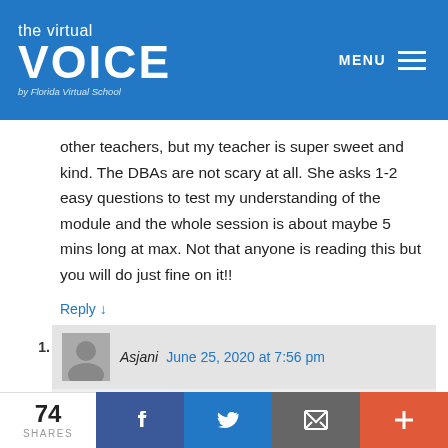the virtual VOICE by Florida Virtual School
other teachers, but my teacher is super sweet and kind. The DBAs are not scary at all. She asks 1-2 easy questions to test my understanding of the module and the whole session is about maybe 5 mins long at max. Not that anyone is reading this but you will do just fine on it!!
Reply ↓
1. Asjani  June 25, 2020 at 7:56 pm
I was nervous too. When i was practicing for the dba with my mom I cried because I
74 SHARES  [Facebook] [Twitter] [Email] [+]